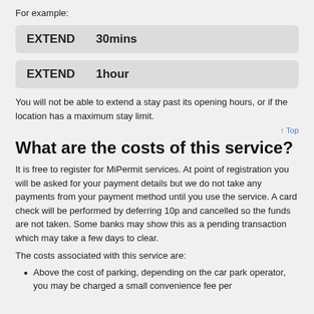For example:
[Figure (other): Grey rounded box showing EXTEND  30mins in bold]
[Figure (other): Grey rounded box showing EXTEND  1hour in bold]
You will not be able to extend a stay past its opening hours, or if the location has a maximum stay limit.
↑ Top
What are the costs of this service?
It is free to register for MiPermit services. At point of registration you will be asked for your payment details but we do not take any payments from your payment method until you use the service. A card check will be performed by deferring 10p and cancelled so the funds are not taken. Some banks may show this as a pending transaction which may take a few days to clear.
The costs associated with this service are:
Above the cost of parking, depending on the car park operator, you may be charged a small convenience fee per